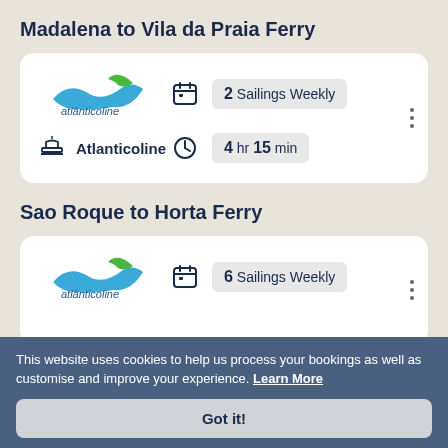Madalena to Vila da Praia Ferry
[Figure (infographic): Ferry route card for Atlanticoline: atlânticoline logo (blue wave and green mountain), 2 Sailings Weekly, ship icon with 'Atlanticoline' label, clock icon with '4 hr 15 min' duration]
Sao Roque to Horta Ferry
[Figure (infographic): Ferry route card for Atlanticoline: atlânticoline logo (blue wave and green mountain), 6 Sailings Weekly]
This website uses cookies to help us process your bookings as well as customise and improve your experience. Learn More
Got it!